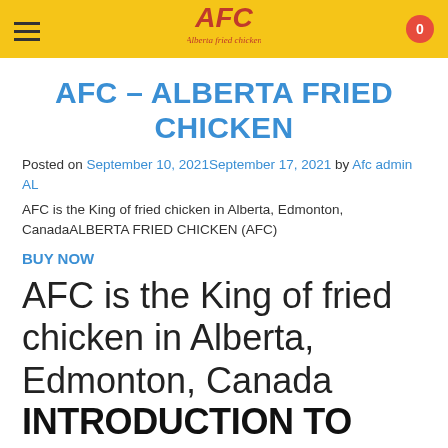AFC – Alberta Fried Chicken (navigation header with logo and cart)
AFC – ALBERTA FRIED CHICKEN
Posted on September 10, 2021September 17, 2021 by Afc admin AL
AFC is the King of fried chicken in Alberta, Edmonton, CanadaALBERTA FRIED CHICKEN (AFC)
BUY NOW
AFC is the King of fried chicken in Alberta, Edmonton, Canada
INTRODUCTION TO AFC